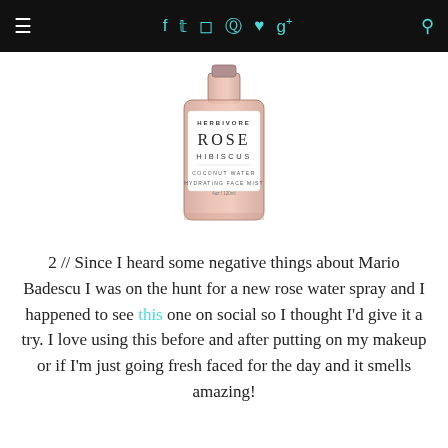≡  f  t  [camera]  [pinterest]  [heart]  g+  [search]
[Figure (photo): Herbivore Rose Hibiscus Coconut Water Hydrating Face Mist bottle, pink glass bottle with white label]
2 // Since I heard some negative things about Mario Badescu I was on the hunt for a new rose water spray and I happened to see this one on social so I thought I'd give it a try. I love using this before and after putting on my makeup or if I'm just going fresh faced for the day and it smells amazing!